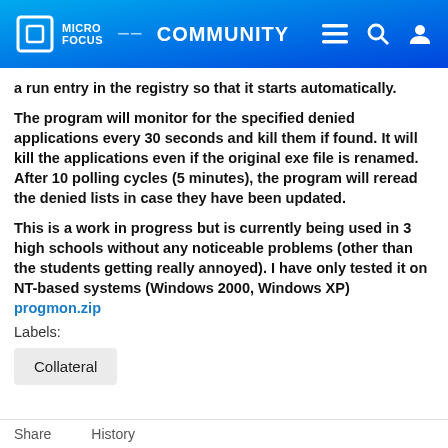MICRO FOCUS COMMUNITY
a run entry in the registry so that it starts automatically.
The program will monitor for the specified denied applications every 30 seconds and kill them if found. It will kill the applications even if the original exe file is renamed. After 10 polling cycles (5 minutes), the program will reread the denied lists in case they have been updated.
This is a work in progress but is currently being used in 3 high schools without any noticeable problems (other than the students getting really annoyed). I have only tested it on NT-based systems (Windows 2000, Windows XP)
progmon.zip
Labels:
Collateral
Share   History